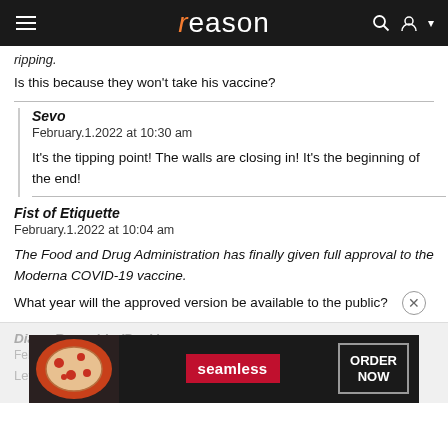reason
ripping.
Is this because they won't take his vaccine?
Sevo
February.1.2022 at 10:30 am
It's the tipping point! The walls are closing in! It's the beginning of the end!
Fist of Etiquette
February.1.2022 at 10:04 am
The Food and Drug Administration has finally given full approval to the Moderna COVID-19 vaccine.
What year will the approved version be available to the public?
[Figure (screenshot): Seamless food delivery advertisement banner with pizza image, seamless logo in red, and ORDER NOW button]
Diane Reynolds (Paul.)
February.
Let's...